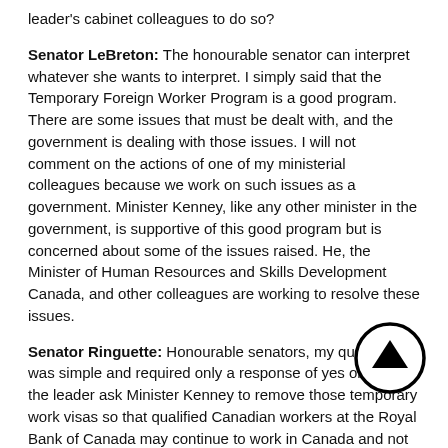leader's cabinet colleagues to do so?
Senator LeBreton: The honourable senator can interpret whatever she wants to interpret. I simply said that the Temporary Foreign Worker Program is a good program. There are some issues that must be dealt with, and the government is dealing with those issues. I will not comment on the actions of one of my ministerial colleagues because we work on such issues as a government. Minister Kenney, like any other minister in the government, is supportive of this good program but is concerned about some of the issues raised. He, the Minister of Human Resources and Skills Development Canada, and other colleagues are working to resolve these issues.
Senator Ringuette: Honourable senators, my question was simple and required only a response of yes or no. Will the leader ask Minister Kenney to remove those temporary work visas so that qualified Canadian workers at the Royal Bank of Canada may continue to work in Canada and not be replaced, at least until a full-fledged investigation is complete?
Honourable senators, 40 qualified Canadians will lose their income. That is not an issue of politics. My question requires an answer of yes or no: Will the leader ask her cabinet colleague, Minister Kenney, to remove those temporary visas so that Canadian workers may keep their jobs while the issue is being